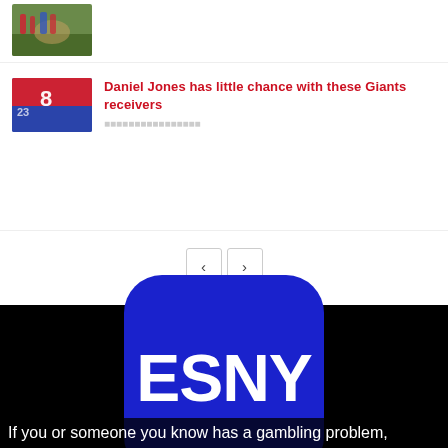[Figure (photo): Thumbnail image of football players on field]
[Figure (photo): Thumbnail photo of Daniel Jones (#8) in red Giants uniform]
Daniel Jones has little chance with these Giants receivers
[Figure (logo): ESNY logo — white text on blue rounded square, black background]
If you or someone you know has a gambling problem,